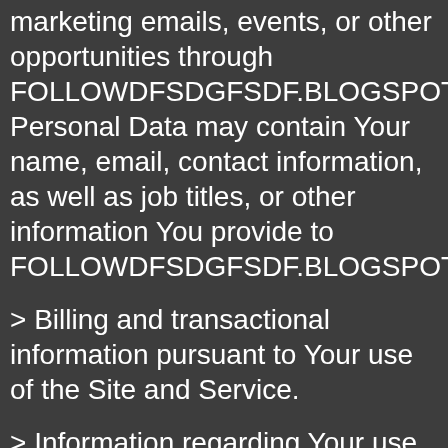marketing emails, events, or other opportunities through FOLLOWDFSDGFSDF.BLOGSPOT.COM Personal Data may contain Your name, email, contact information, as well as job titles, or other information You provide to FOLLOWDFSDGFSDF.BLOGSPOT.COM
> Billing and transactional information pursuant to Your use of the Site and Service.
> Information regarding Your use of the Site or Service, such as the hardware model, operating system version, web-browser software and